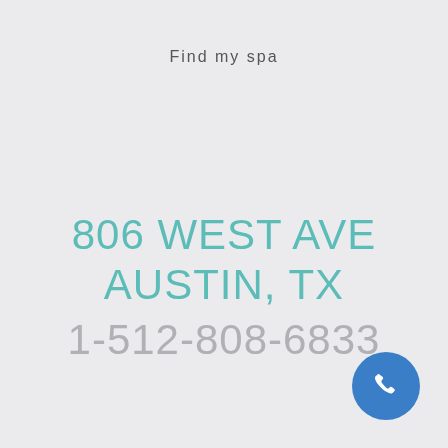Find my spa
806 WEST AVE
AUSTIN, TX
1-512-808-6833
[Figure (illustration): Blue circular phone/call button icon in the bottom-right corner]